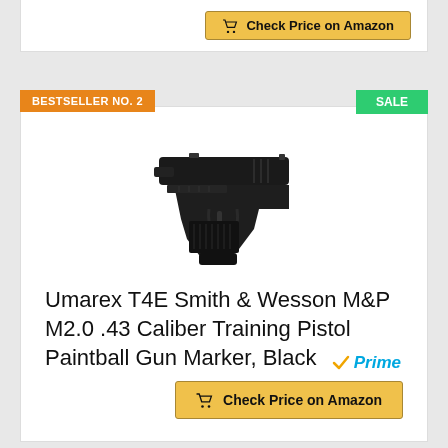[Figure (screenshot): Top portion of a product card showing a yellow Check Price on Amazon button]
BESTSELLER NO. 2
SALE
[Figure (photo): Black Umarex T4E Smith & Wesson M&P M2.0 .43 Caliber Training Pistol Paintball Gun Marker on white background]
Umarex T4E Smith & Wesson M&P M2.0 .43 Caliber Training Pistol Paintball Gun Marker, Black
[Figure (logo): Amazon Prime logo with checkmark]
Check Price on Amazon